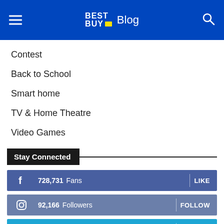Best Buy Blog
Contest
Back to School
Smart home
TV & Home Theatre
Video Games
Stay Connected
728,731 Fans  LIKE
92,166 Followers  FOLLOW
106,528 Followers  FOLLOW